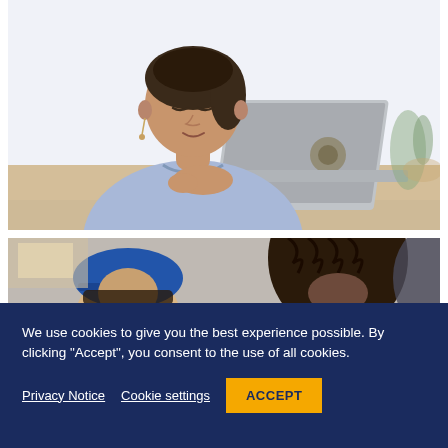[Figure (photo): A young woman in a light blue shirt sitting at a desk with a laptop, looking down and speaking or concentrating, with a blurred background.]
[Figure (photo): A classroom or group setting with multiple people; visible are a person wearing a blue cap and another person with dark braided hair in the foreground, blurred background with others.]
We use cookies to give you the best experience possible. By clicking “Accept”, you consent to the use of all cookies.
Privacy Notice
Cookie settings
ACCEPT